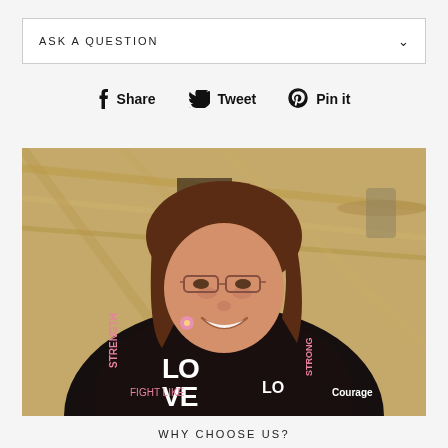ASK A QUESTION
Share  Tweet  Pin it
[Figure (photo): A smiling woman with glasses and brown hair wearing a dark hoodie with pink and white text and breast cancer awareness ribbon graphics (words: LOVE, STRENGTH, COURAGE, STRONG, etc.). She is taking a selfie indoors in a wood-paneled room with a ceiling fan visible in the background.]
WHY CHOOSE US?